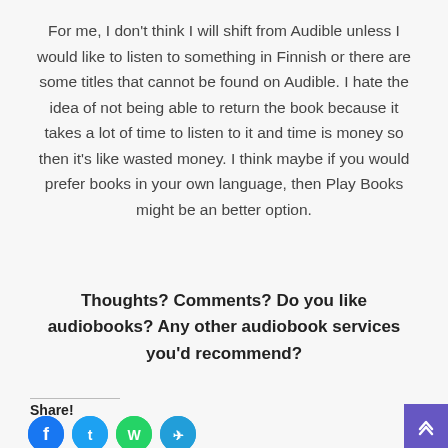For me, I don't think I will shift from Audible unless I would like to listen to something in Finnish or there are some titles that cannot be found on Audible. I hate the idea of not being able to return the book because it takes a lot of time to listen to it and time is money so then it's like wasted money. I think maybe if you would prefer books in your own language, then Play Books might be an better option.
Thoughts? Comments? Do you like audiobooks? Any other audiobook services you'd recommend?
Share!